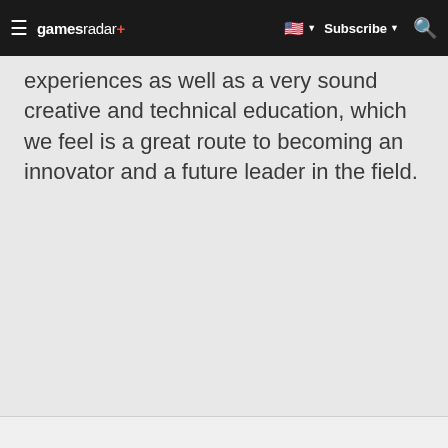gamesradar+ | Subscribe | Search
experiences as well as a very sound creative and technical education, which we feel is a great route to becoming an innovator and a future leader in the field.